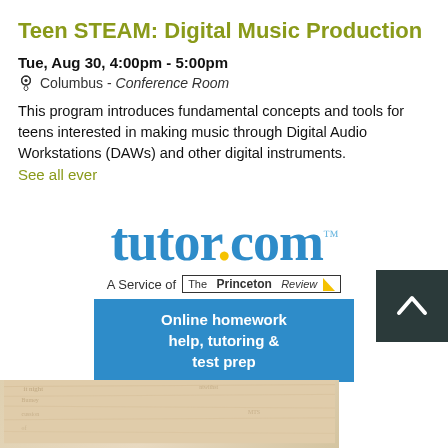Teen STEAM: Digital Music Production
Tue, Aug 30, 4:00pm - 5:00pm
Columbus - Conference Room
This program introduces fundamental concepts and tools for teens interested in making music through Digital Audio Workstations (DAWs) and other digital instruments.
See all ever
[Figure (logo): tutor.com logo with yellow dot, subtitle 'A Service of The Princeton Review', and blue button reading 'Online homework help, tutoring & test prep']
[Figure (photo): Partial view of old paper or book pages with faint handwritten or printed text, cropped at bottom of page]